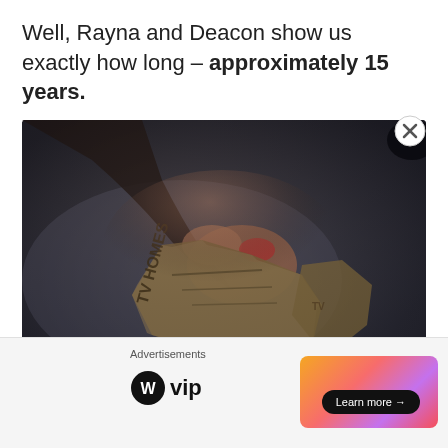Well, Rayna and Deacon show us exactly how long – approximately 15 years.
[Figure (photo): Dark close-up photo of hands tearing apart what appears to be a magazine or photograph on a dark fabric surface]
Advertisements
[Figure (logo): WordPress VIP logo with circular W icon followed by 'vip' text]
[Figure (infographic): Orange/pink gradient advertisement banner with 'Learn more →' button]